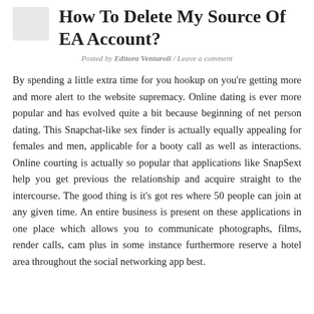How To Delete My Source Of EA Account?
Posted by Editora Venturoli / Leave a comment
By spending a little extra time for you hookup on you're getting more and more alert to the website supremacy. Online dating is ever more popular and has evolved quite a bit because beginning of net person dating. This Snapchat-like sex finder is actually equally appealing for females and men, applicable for a booty call as well as interactions. Online courting is actually so popular that applications like SnapSext help you get previous the relationship and acquire straight to the intercourse. The good thing is it's got res where 50 people can join at any given time. An entire business is present on these applications in one place which allows you to communicate photographs, films, render calls, cam plus in some instance furthermore reserve a hotel area throughout the social networking app best.